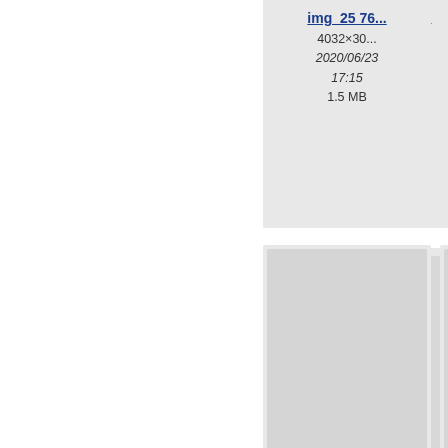[Figure (screenshot): File browser grid view showing image file thumbnails. Partial view of 6 cards arranged in 2 columns. Each card shows a grey thumbnail placeholder, filename link (img_XXX...), dimensions (4032×30...), date (italic), and file size. Visible entries: img_563... 4032×30... 2020/06/23 17:15 1.5 MB; partially visible right card 4032... 2019... 14... 1.5; img_563... 4032×30... 2019/10/13 17:25 2 MB; partially visible right 4032... 2019... 17... 1.4; img_565... (bottom left); img_... (bottom right, partially visible)]